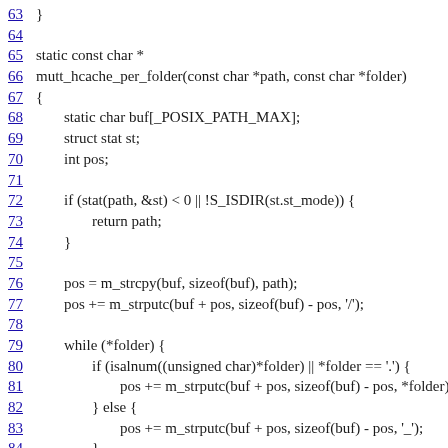Source code listing lines 63-87: mutt_hcache_per_folder function in C